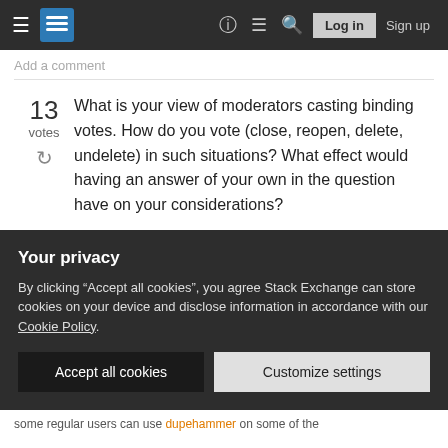Stack Exchange navigation bar with hamburger menu, logo, help, chat, search icons, Log in and Sign up buttons
Add a comment
13 votes
What is your view of moderators casting binding votes. How do you vote (close, reopen, delete, undelete) in such situations? What effect would having an answer of your own in the question have on your considerations?

Do you think that moderators should use the binding vote only in the clear cases (obvious spam, an obvious not an answer, etc.)?
Your privacy
By clicking “Accept all cookies”, you agree Stack Exchange can store cookies on your device and disclose information in accordance with our Cookie Policy.
Accept all cookies
Customize settings